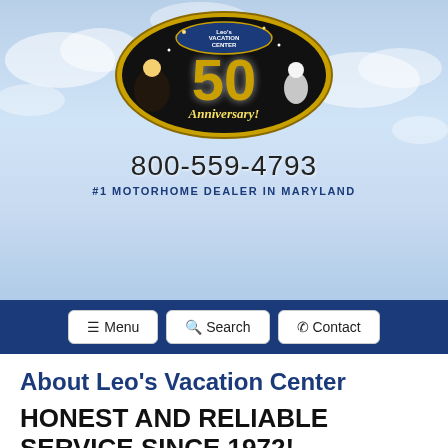[Figure (logo): Leo's Vacation Center 50th Anniversary logo — black oval with gold '50 Anniversary!' text and cartoon characters]
800-559-4793
#1 MOTORHOME DEALER IN MARYLAND
≡ Menu  🔍 Search  📞 Contact
About Leo's Vacation Center
HONEST AND RELIABLE SERVICE SINCE 1972!
Leo's is a family owned and run by the same family since 1972 and is a full service Maryland RV dealership providing quality